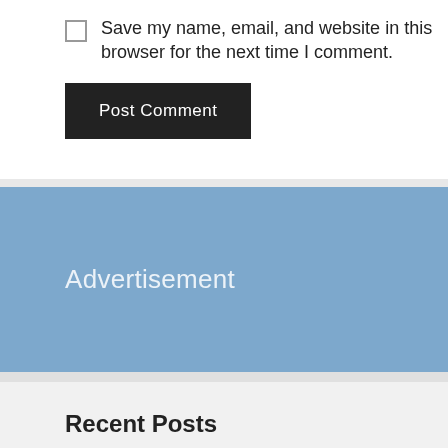Save my name, email, and website in this browser for the next time I comment.
Post Comment
[Figure (other): Blue advertisement banner placeholder with text 'Advertisement']
Recent Posts